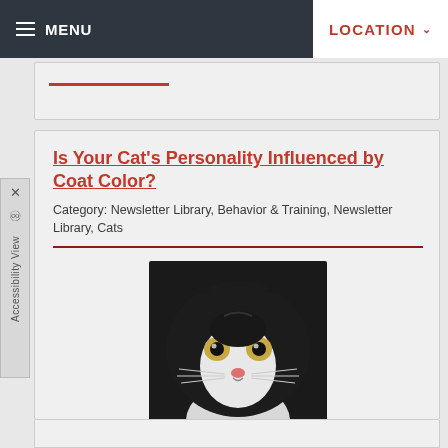MENU   LOCATION
Is Your Cat's Personality Influenced by Coat Color?
Category: Newsletter Library, Behavior & Training, Newsletter Library, Cats
[Figure (photo): Close-up photo of a black and white cat with wide golden eyes and a pink nose, facing the camera directly]
Are orange cats friendlier than black ones? Coat color may play a role in personality.
Read more